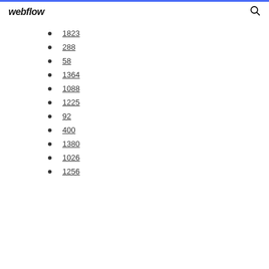webflow
1823
288
58
1364
1088
1225
92
400
1380
1026
1256